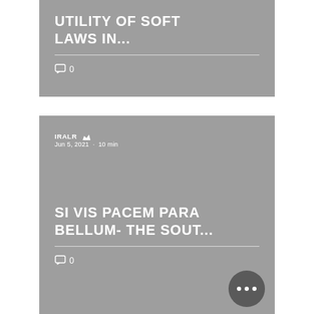UTILITY OF SOFT LAWS IN...
0 comments
IRALR  Jun 5, 2021 · 10 min
SI VIS PACEM PARA BELLUM- THE SOUT...
0 comments